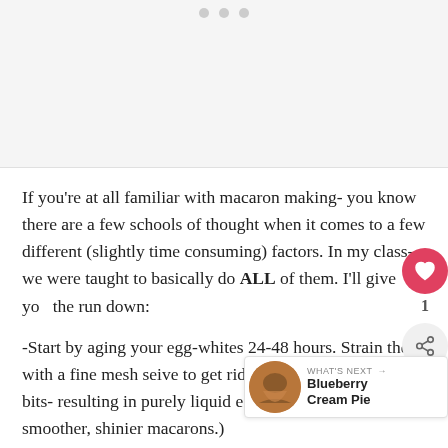[Figure (other): Top image area with three gray dots indicating a photo carousel or placeholder]
If you're at all familiar with macaron making- you know there are a few schools of thought when it comes to a few different (slightly time consuming) factors. In my class- we were taught to basically do ALL of them. I'll give you the run down:
-Start by aging your egg-whites 24-48 hours. Strain them with a fine mesh seive to get rid of any globby weird bits- resulting in purely liquid egg whites. (This results in smoother, shinier macarons.)